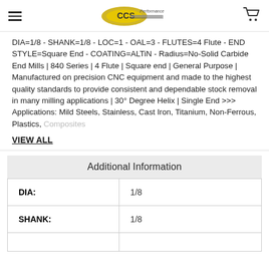CCS Performance Matters [logo] [cart icon]
DIA=1/8 - SHANK=1/8 - LOC=1 - OAL=3 - FLUTES=4 Flute - END STYLE=Square End - COATING=ALTiN - Radius=No-Solid Carbide End Mills | 840 Series | 4 Flute | Square end | General Purpose | Manufactured on precision CNC equipment and made to the highest quality standards to provide consistent and dependable stock removal in many milling applications | 30° Degree Helix | Single End >>> Applications: Mild Steels, Stainless, Cast Iron, Titanium, Non-Ferrous, Plastics, Composites
VIEW ALL
Additional Information
|  |  |
| --- | --- |
| DIA: | 1/8 |
| SHANK: | 1/8 |
|  |  |